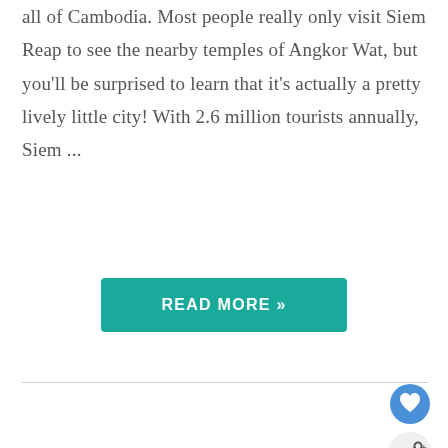all of Cambodia. Most people really only visit Siem Reap to see the nearby temples of Angkor Wat, but you'll be surprised to learn that it's actually a pretty lively little city! With 2.6 million tourists annually, Siem ...
READ MORE »